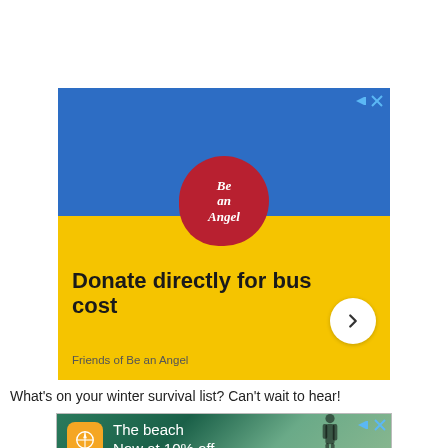[Figure (infographic): Advertisement banner for 'Be an Angel' charity. Blue top half with red circular logo saying 'Be an Angel'. Yellow bottom half with bold text 'Donate directly for bus cost', a white circular arrow button, and 'Friends of Be an Angel' subtitle. Ad controls (arrow and X) in top right corner.]
What's on your winter survival list? Can't wait to hear!
[Figure (infographic): Advertisement banner for travel app showing beach scene. Orange icon with compass/arrow, text 'The beach Now at 10% off', human silhouette on right. Ad controls in top right.]